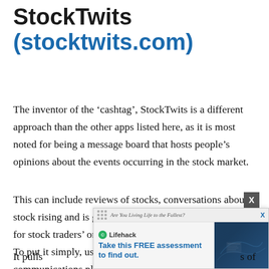StockTwits (stocktwits.com)
The inventor of the ‘cashtag’, StockTwits is a different approach than the other apps listed here, as it is most noted for being a message board that hosts people’s opinions about the events occurring in the stock market.
This can include reviews of stocks, conversations about a stock rising and is generally considered a sort of ‘Twitter for stock traders’ or those interested in the stock market. To put it simply, users on StockTwits are introduced to a communications platform that is specifically for the investing community.
[Figure (screenshot): Advertisement overlay from Lifehack: 'Are You Living Life to the Fullest? Take this FREE assessment to find out.' with close button X and decorative map/document image on the right side.]
It pulls ... s of